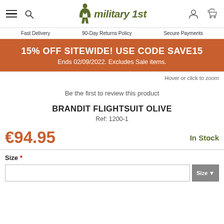Military 1st — Fast Delivery | 90-Day Returns Policy | Secure Payments
15% OFF SITEWIDE! USE CODE SAVE15
Ends 02/09/2022. Excludes Sale items.
Hover or click to zoom
Be the first to review this product
BRANDIT FLIGHTSUIT OLIVE
Ref: 1200-1
€94.95
In Stock
Size *